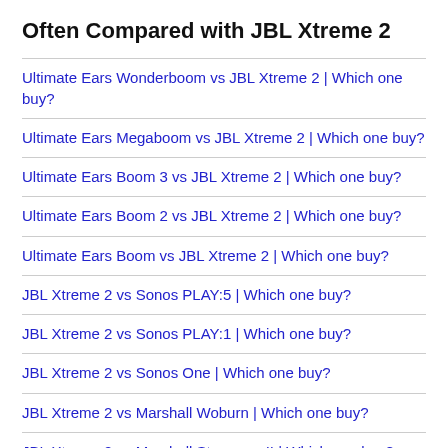Often Compared with JBL Xtreme 2
Ultimate Ears Wonderboom vs JBL Xtreme 2 | Which one buy?
Ultimate Ears Megaboom vs JBL Xtreme 2 | Which one buy?
Ultimate Ears Boom 3 vs JBL Xtreme 2 | Which one buy?
Ultimate Ears Boom 2 vs JBL Xtreme 2 | Which one buy?
Ultimate Ears Boom vs JBL Xtreme 2 | Which one buy?
JBL Xtreme 2 vs Sonos PLAY:5 | Which one buy?
JBL Xtreme 2 vs Sonos PLAY:1 | Which one buy?
JBL Xtreme 2 vs Sonos One | Which one buy?
JBL Xtreme 2 vs Marshall Woburn | Which one buy?
JBL Xtreme 2 vs Marshall Stanmore II | Which one buy?